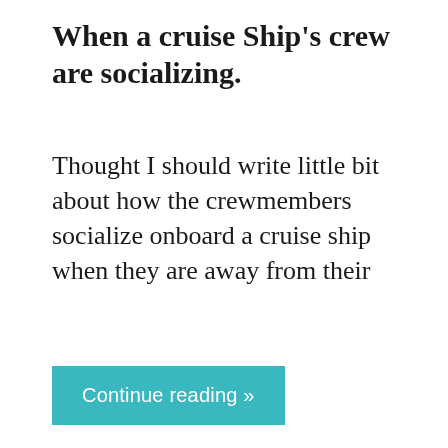When a cruise Ship's crew are socializing.
Thought I should write little bit about how the crewmembers socialize onboard a cruise ship when they are away from their
Continue reading »
[Figure (photo): Partial view of a harbor or port with a cruise ship under a light blue sky, with industrial structures visible along the water's edge.]